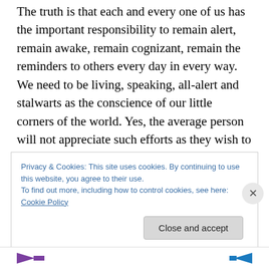The truth is that each and every one of us has the important responsibility to remain alert, remain awake, remain cognizant, remain the reminders to others every day in every way. We need to be living, speaking, all-alert and stalwarts as the conscience of our little corners of the world. Yes, the average person will not appreciate such efforts as they wish to remain asleep until the next Islamic terrorist assault when they will immediately become the loudest and most ardent fighter demanding actions for almost three or ten days and they return to their slumber. The daily water cooler talk will soon sound so similar to
Privacy & Cookies: This site uses cookies. By continuing to use this website, you agree to their use.
To find out more, including how to control cookies, see here: Cookie Policy
Close and accept